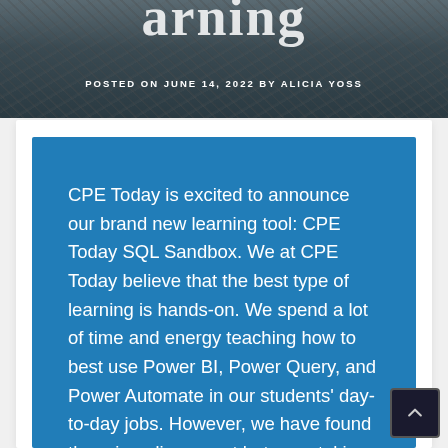[Figure (photo): Rocky/rocky terrain hero banner image with dark overlay, partially visible title text at top]
POSTED ON JUNE 14, 2022 BY ALICIA YOSS
CPE Today is excited to announce our brand new learning tool: CPE Today SQL Sandbox. We at CPE Today believe that the best type of learning is hands-on. We spend a lot of time and energy teaching how to best use Power BI, Power Query, and Power Automate in our students’ day-to-day jobs. However, we have found there is a disconnect between taking our classes and being able to implement what we have taught. Therefore, we will bridge that gap with our new Learn SQL